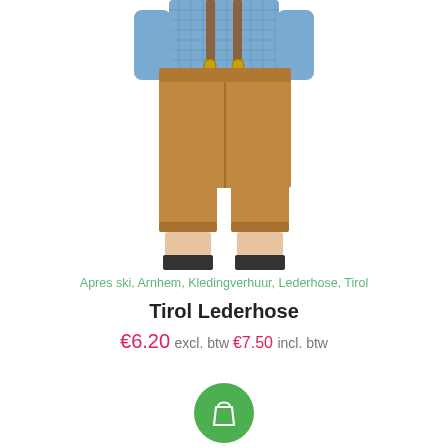[Figure (photo): Product photo of a person wearing Tirol Lederhose (traditional Bavarian leather shorts in tan/caramel color with suspenders) over a blue checkered shirt. The person's head is cropped out. The shorts are knee-length with cuffs, worn with dark socks and shoes.]
Apres ski, Arnhem, Kledingverhuur, Lederhose, Tirol
Tirol Lederhose
€6.20 excl. btw €7.50 incl. btw
[Figure (other): Green circular shopping cart button]